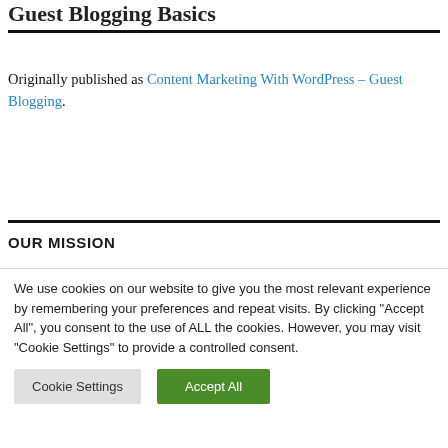Guest Blogging Basics
Originally published as Content Marketing With WordPress – Guest Blogging.
OUR MISSION
We use cookies on our website to give you the most relevant experience by remembering your preferences and repeat visits. By clicking "Accept All", you consent to the use of ALL the cookies. However, you may visit "Cookie Settings" to provide a controlled consent.